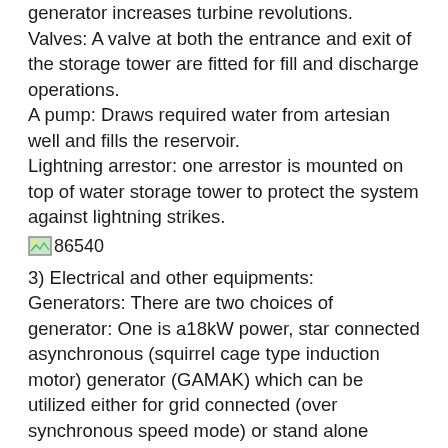generator increases turbine revolutions. Valves: A valve at both the entrance and exit of the storage tower are fitted for fill and discharge operations. A pump: Draws required water from artesian well and fills the reservoir. Lightning arrestor: one arrestor is mounted on top of water storage tower to protect the system against lightning strikes.
[Figure (photo): Image placeholder labeled 86540]
3) Electrical and other equipments: Generators: There are two choices of generator: One is a18kW power, star connected asynchronous (squirrel cage type induction motor) generator (GAMAK) which can be utilized either for grid connected (over synchronous speed mode) or stand alone operations. Second option is a self■excited (brushless), 20kVA synchronous generator (GENSAN) which is already installed to the turbine shaft with direct